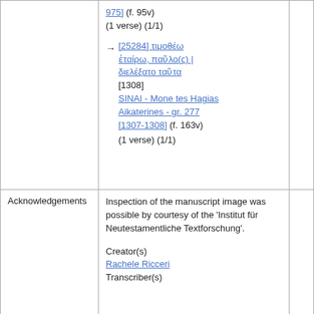|  | 975] (f. 95v)
(1 verse) (1/1)
→ [25284] τιμοθέω ἑταίρω, παῦλο(ς) | διελέξατο ταῦτα [1308]
SINAI - Mone tes Hagias Aikaterines - gr. 277 [1307-1308] (f. 163v)
(1 verse) (1/1) |
| Acknowledgements | Inspection of the manuscript image was possible by courtesy of the 'Institut für Neutestamentliche Textforschung'.

Creator(s)
Rachele Ricceri
Transcriber(s) |